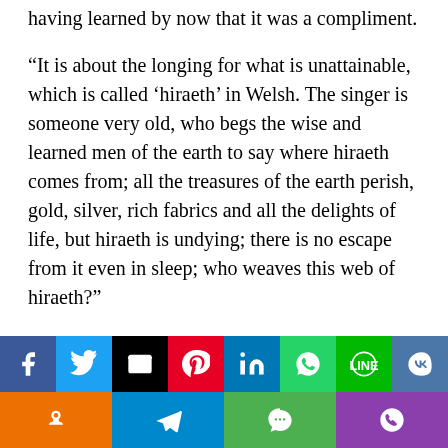having learned by now that it was a compliment.
“It is about the longing for what is unattainable, which is called ‘hiraeth’ in Welsh. The singer is someone very old, who begs the wise and learned men of the earth to say where hiraeth comes from; all the treasures of the earth perish, gold, silver, rich fabrics and all the delights of life, but hiraeth is undying; there is no escape from it even in sleep; who weaves this web of hiraeth?”
“Splendid,” said Ripon; “real Celtic magic.”
“Oh I don’t know,” said Revelstoke. The Welsh